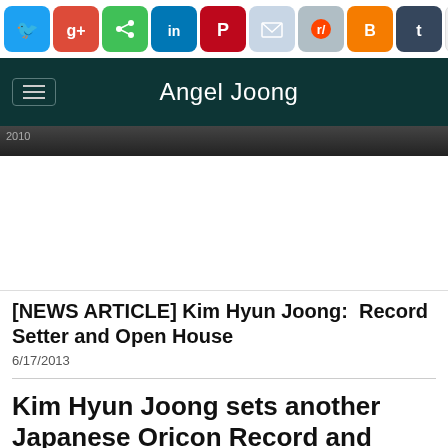[Figure (infographic): Social media share bar with icons: Twitter (blue), Google+ (red), Share (green), LinkedIn (blue), Pinterest (red), Email (light blue), Reddit (gray), Blogger (orange), Tumblr (dark), WordPress (white), RSS (orange)]
Angel Joong
[Figure (photo): Partial cropped photo strip, dark tones, partially visible]
[NEWS ARTICLE] Kim Hyun Joong:  Record Setter and Open House
6/17/2013
Kim Hyun Joong sets another Japanese Oricon Record and Opens his Home to Fans and Friends